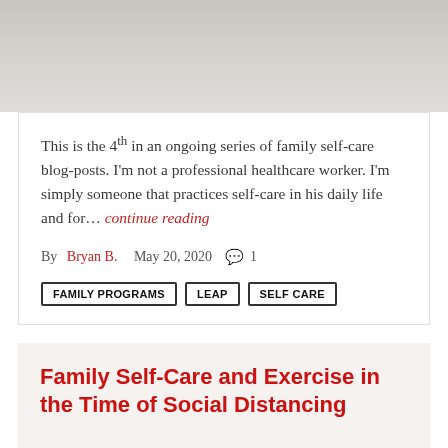[Figure (photo): Top portion of a blog post hero image, cropped — appears to show a desk or tabletop scene]
This is the 4th in an ongoing series of family self-care blog-posts. I'm not a professional healthcare worker. I'm simply someone that practices self-care in his daily life and for… continue reading
By Bryan B.   May 20, 2020   💬 1
FAMILY PROGRAMS
LEAP
SELF CARE
Family Self-Care and Exercise in the Time of Social Distancing
[Figure (photo): Bottom portion showing a person near a window with plants, indoors, partial crop at page bottom]